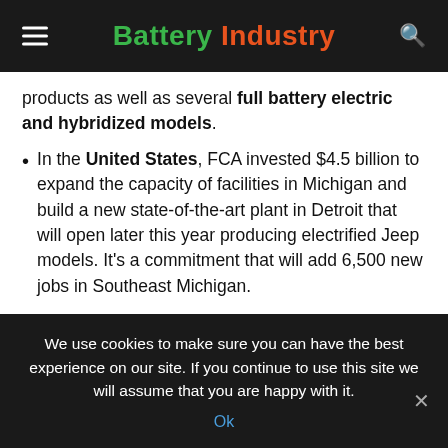Battery Industry
products as well as several full battery electric and hybridized models.
In the United States, FCA invested $4.5 billion to expand the capacity of facilities in Michigan and build a new state-of-the-art plant in Detroit that will open later this year producing electrified Jeep models. It's a commitment that will add 6,500 new jobs in Southeast Michigan.
“FCA also enriched the vitality and welfare of the communities...
We use cookies to make sure you can have the best experience on our site. If you continue to use this site we will assume that you are happy with it.